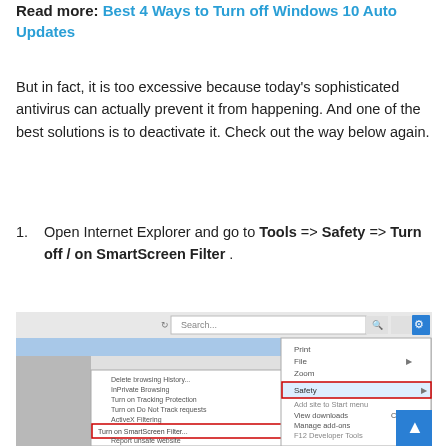Read more: Best 4 Ways to Turn off Windows 10 Auto Updates
But in fact, it is too excessive because today's sophisticated antivirus can actually prevent it from happening. And one of the best solutions is to deactivate it. Check out the way below again.
1. Open Internet Explorer and go to Tools => Safety => Turn off / on SmartScreen Filter .
[Figure (screenshot): Internet Explorer browser window showing the Tools menu expanded, with Safety submenu highlighted in red, and a secondary menu showing options including 'Turn on SmartScreen Filter...' highlighted with a red border.]